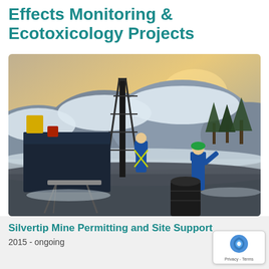Effects Monitoring & Ecotoxicology Projects
[Figure (photo): Workers in blue safety gear operating a drilling rig at a mine site in a snowy, mountainous landscape. Several workers visible around the rig, with a dark barrel in the foreground and a field table. Trees and hills visible in background.]
Silvertip Mine Permitting and Site Support
2015 - ongoing